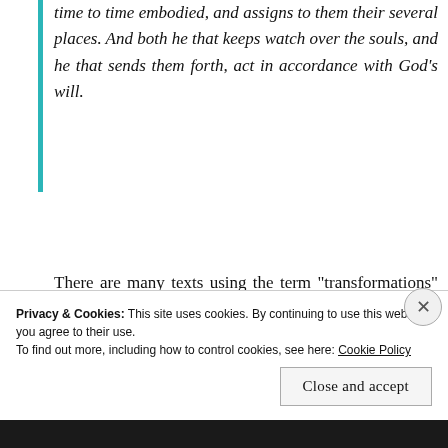time to time embodied, and assigns to them their several places. And both he that keeps watch over the souls, and he that sends them forth, act in accordance with God’s will.
There are many texts using the term “transformations” and a good commentary on the concept by R. T. Rundle Clark follows:
Privacy & Cookies: This site uses cookies. By continuing to use this website, you agree to their use.
To find out more, including how to control cookies, see here: Cookie Policy
Close and accept